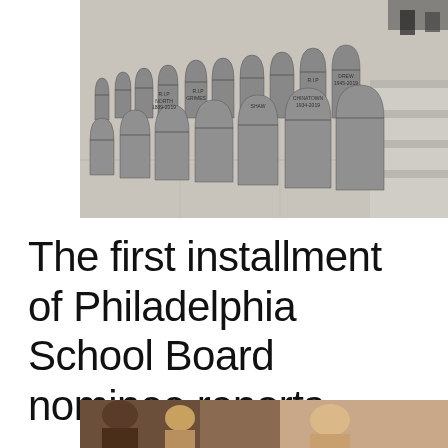[Figure (photo): Photo of rows of tombstone-shaped cardboard cutouts arranged on stone steps, each labeled with what appears to be neighborhood or community names and dates.]
The first installment of Philadelphia School Board nominee reports
[Figure (photo): Partial photo at the bottom of the page, showing people, partially cropped.]